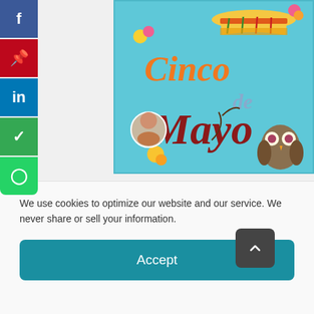[Figure (illustration): Cinco de Mayo colorful graphic with sombrero hat, flowers, owl, and festive text reading 'Cinco de Mayo' on a teal background. Small circular profile photo of a person in bottom left corner.]
Cinco de Mayo graphing
We use cookies to optimize our website and our service. We never share or sell your information.